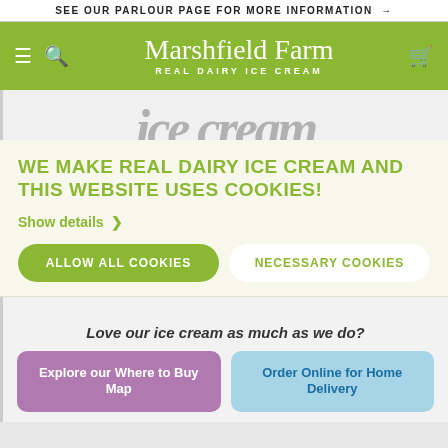SEE OUR PARLOUR PAGE FOR MORE INFORMATION →
Marshfield Farm REAL DAIRY ICE CREAM
[Figure (screenshot): Partial hero image of handwritten text, partially cropped]
WE MAKE REAL DAIRY ICE CREAM AND THIS WEBSITE USES COOKIES!
Show details >
ALLOW ALL COOKIES
NECESSARY COOKIES
Love our ice cream as much as we do?
Explore our Where to Buy Map
Order Online for Home Delivery